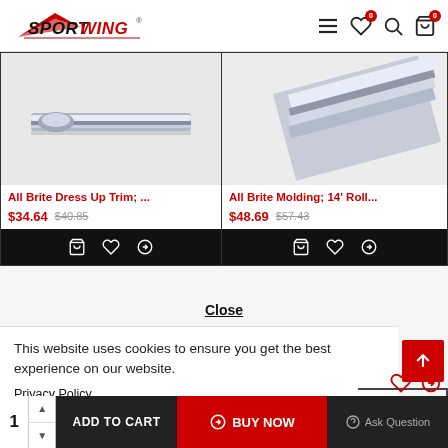[Figure (logo): Sportwing logo - red and black text with wing design]
[Figure (photo): Chrome trim strip product photo - All Brite Dress Up Trim]
All Brite Dress Up Trim; ...
$34.64  $40.85
[Figure (photo): Chrome molding strip product photo - All Brite Molding 14' Roll]
All Brite Molding; 14' Roll...
$48.69  $57.43
Close
This website uses cookies to ensure you get the best experience on our website.
Privacy Policy
ADD TO CART
BUY NOW
Ask Question